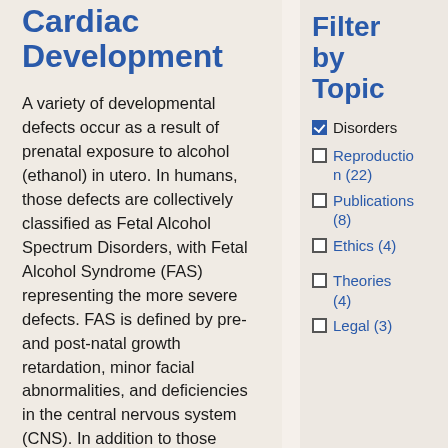Cardiac Development
A variety of developmental defects occur as a result of prenatal exposure to alcohol (ethanol) in utero. In humans, those defects are collectively classified as Fetal Alcohol Spectrum Disorders, with Fetal Alcohol Syndrome (FAS) representing the more severe defects. FAS is defined by pre- and post-natal growth retardation, minor facial abnormalities, and deficiencies in the central nervous system (CNS). In addition to those defects, prenatal exposure
Filter by Topic
Disorders (checked)
Reproduction (22)
Publications (8)
Ethics (4)
Theories (4)
Legal (3)